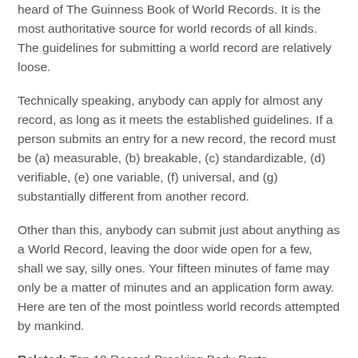heard of The Guinness Book of World Records. It is the most authoritative source for world records of all kinds. The guidelines for submitting a world record are relatively loose.
Technically speaking, anybody can apply for almost any record, as long as it meets the established guidelines. If a person submits an entry for a new record, the record must be (a) measurable, (b) breakable, (c) standardizable, (d) verifiable, (e) one variable, (f) universal, and (g) substantially different from another record.
Other than this, anybody can submit just about anything as a World Record, leaving the door wide open for a few, shall we say, silly ones. Your fifteen minutes of fame may only be a matter of minutes and an application form away. Here are ten of the most pointless world records attempted by mankind.
Related: Top 10 Record-Breaking Body Parts
10 Fastest Time to Cross a Greased